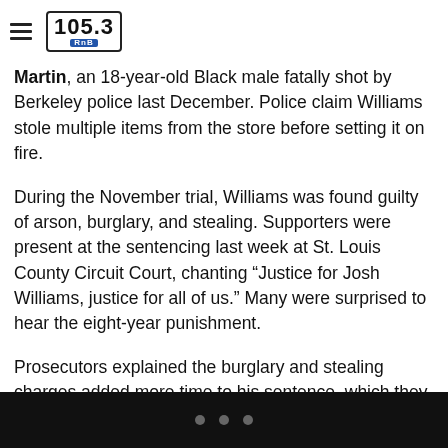105.3 RnB
the St. Louis Dispatch, Joshua Williams, 19, broke into the gas station shortly after the death of Antonio Martin, an 18-year-old Black male fatally shot by Berkeley police last December. Police claim Williams stole multiple items from the store before setting it on fire.
During the November trial, Williams was found guilty of arson, burglary, and stealing. Supporters were present at the sentencing last week at St. Louis County Circuit Court, chanting “Justice for Josh Williams, justice for all of us.” Many were surprised to hear the eight-year punishment.
Prosecutors explained the burglary and stealing charges added more time to his sentence, which they recommend he should serve concurrently.
• • •